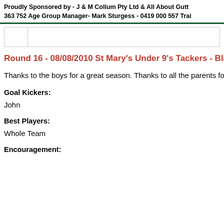Proudly Sponsored by - J & M Collum Pty Ltd & All About Gutt 363 752 Age Group Manager- Mark Sturgess - 0419 000 557 Trai
Round 16 - 08/08/2010 St Mary's Under 9's Tackers - Black
Thanks to the boys for a great season. Thanks to all the parents for
Goal Kickers:
John
Best Players:
Whole Team
Encouragement: